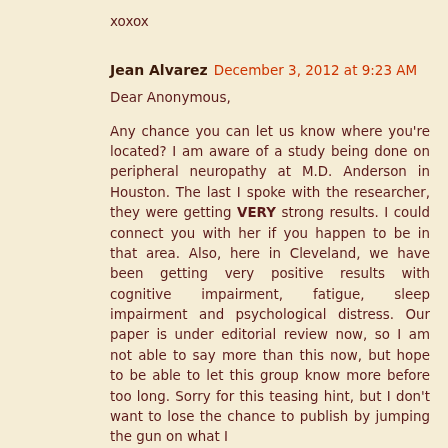xoxox
Jean Alvarez  December 3, 2012 at 9:23 AM
Dear Anonymous,
Any chance you can let us know where you're located? I am aware of a study being done on peripheral neuropathy at M.D. Anderson in Houston. The last I spoke with the researcher, they were getting VERY strong results. I could connect you with her if you happen to be in that area. Also, here in Cleveland, we have been getting very positive results with cognitive impairment, fatigue, sleep impairment and psychological distress. Our paper is under editorial review now, so I am not able to say more than this now, but hope to be able to let this group know more before too long. Sorry for this teasing hint, but I don't want to lose the chance to publish by jumping the gun on what I